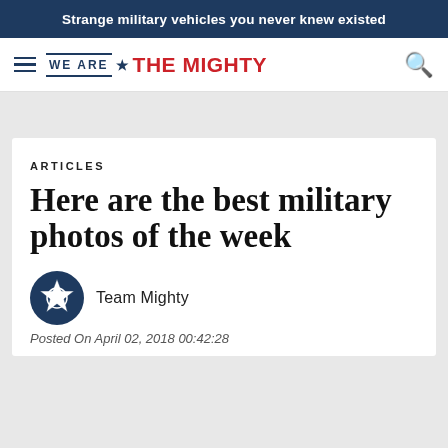Strange military vehicles you never knew existed
[Figure (logo): We Are The Mighty logo with hamburger menu and search icon]
ARTICLES
Here are the best military photos of the week
Team Mighty
Posted On April 02, 2018 00:42:28